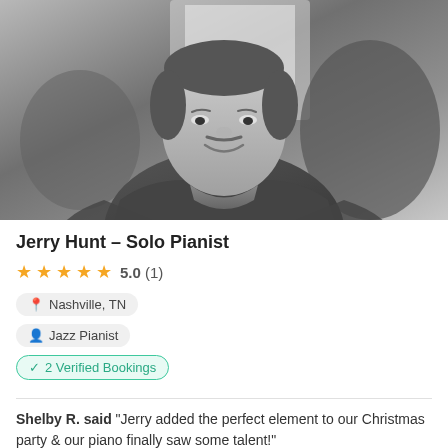[Figure (photo): Black and white portrait photo of a heavyset man in a blazer and collared shirt, smiling, seated indoors near a window.]
Jerry Hunt – Solo Pianist
★★★★★ 5.0 (1)
Nashville, TN
Jazz Pianist
2 Verified Bookings
Shelby R. said "Jerry added the perfect element to our Christmas party & our piano finally saw some talent!"